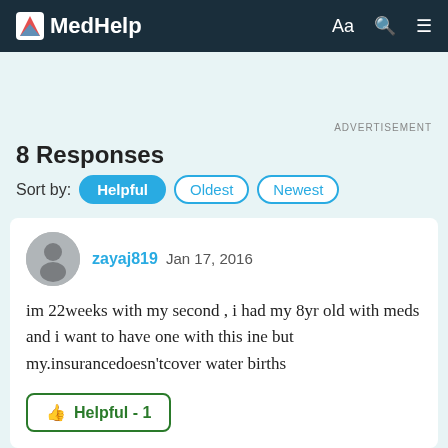MedHelp
ADVERTISEMENT
8 Responses
Sort by: Helpful  Oldest  Newest
zayaj819 Jan 17, 2016

im 22weeks with my second , i had my 8yr old with meds and i want to have one with this ine but my.insurancedoesn'tcover water births
Helpful - 1